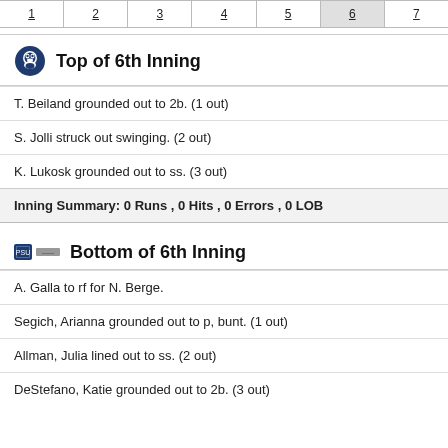| 1 | 2 | 3 | 4 | 5 | 6 | 7 |
| --- | --- | --- | --- | --- | --- | --- |
|  |
Top of 6th Inning
T. Beiland grounded out to 2b. (1 out)
S. Jolli struck out swinging. (2 out)
K. Lukosk grounded out to ss. (3 out)
Inning Summary: 0 Runs , 0 Hits , 0 Errors , 0 LOB
Bottom of 6th Inning
A. Galla to rf for N. Berge.
Segich, Arianna grounded out to p, bunt. (1 out)
Allman, Julia lined out to ss. (2 out)
DeStefano, Katie grounded out to 2b. (3 out)